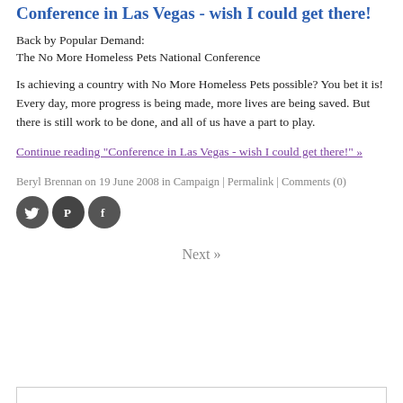Conference in Las Vegas - wish I could get there!
Back by Popular Demand:
The No More Homeless Pets National Conference
Is achieving a country with No More Homeless Pets possible? You bet it is! Every day, more progress is being made, more lives are being saved. But there is still work to be done, and all of us have a part to play.
Continue reading "Conference in Las Vegas - wish I could get there!" »
Beryl Brennan on 19 June 2008 in Campaign | Permalink | Comments (0)
[Figure (infographic): Three circular social sharing icons: Twitter bird (grey), Pinterest P (grey/dark), Facebook f (grey)]
Next »
[Figure (other): Empty search/input box at bottom of page]